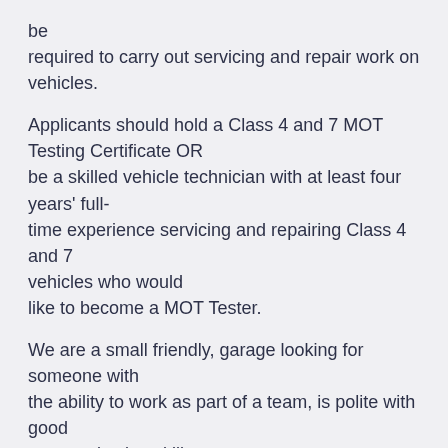be
required to carry out servicing and repair work on vehicles.
Applicants should hold a Class 4 and 7 MOT Testing Certificate OR
be a skilled vehicle technician with at least four years' full-time experience servicing and repairing Class 4 and 7 vehicles who would
like to become a MOT Tester.
We are a small friendly, garage looking for someone with the ability to work as part of a team, is polite with good communication skills,
has a helpful manner and a positive approach to work.
Applicants must hold a current and full UK driving licence.
Duties of the role:
To carry out Class 4 and 7 MOTs.